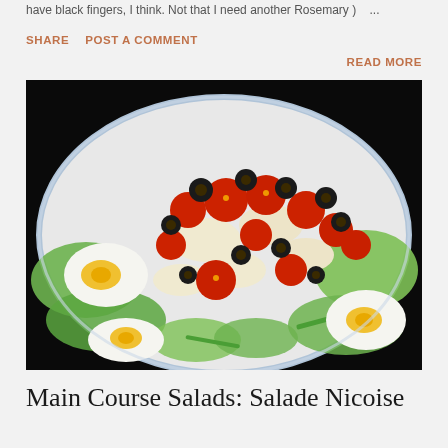have black fingers, I think. Not that I need another Rosemary ) ...
SHARE   POST A COMMENT   READ MORE
[Figure (photo): A plate of Salade Nicoise with cherry tomatoes, black olives, hard-boiled eggs, green beans, and lettuce on a blue and white oval platter against a dark background.]
Main Course Salads: Salade Nicoise